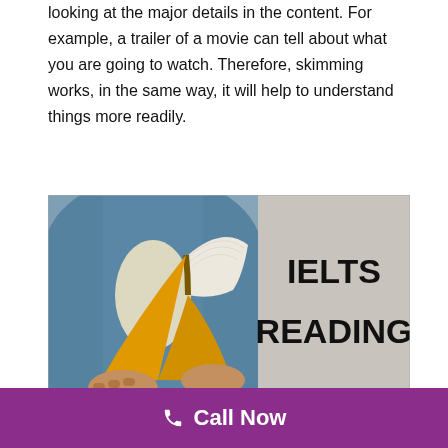looking at the major details in the content. For example, a trailer of a movie can tell about what you are going to watch. Therefore, skimming works, in the same way, it will help to understand things more readily.
[Figure (photo): A person in a denim shirt reading/holding an open yellow book, with text 'IELTS READING' overlaid on the right side of the image against a grey background.]
Learn To Skim The Paragraphs
Call Now